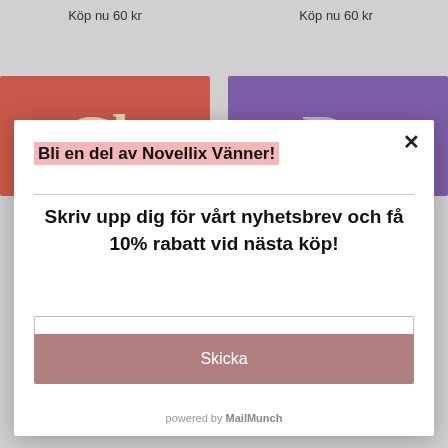Köp nu 60 kr
Köp nu 60 kr
[Figure (photo): Two book covers side by side: left is a red/salmon colored cover with cream decorative lettering, right is a purple cover with light decorative lettering, both with a small circular logo in top right corner]
Bli en del av Novellix Vänner!
Skriv upp dig för vårt nyhetsbrev och få 10% rabatt vid nästa köp!
Skriv din mejladress här
Skicka
powered by MailMunch